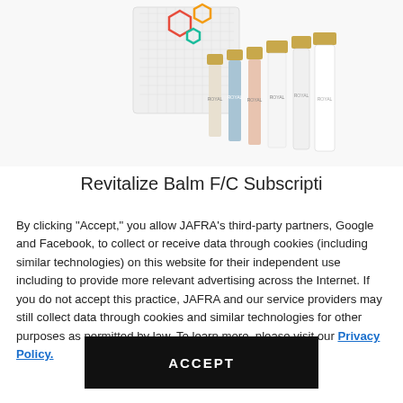[Figure (photo): JAFRA Royal skincare product collection: a white decorative box with geometric pattern and colorful hexagonal shapes, surrounded by multiple skincare bottles and tubes with gold and white packaging labeled ROYAL]
Revitalize Balm F/C Subscripti
By clicking “Accept,” you allow JAFRA’s third-party partners, Google and Facebook, to collect or receive data through cookies (including similar technologies) on this website for their independent use including to provide more relevant advertising across the Internet. If you do not accept this practice, JAFRA and our service providers may still collect data through cookies and similar technologies for other purposes as permitted by law. To learn more, please visit our Privacy Policy.
ACCEPT